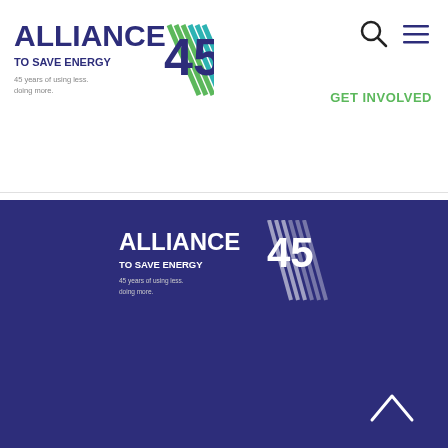[Figure (logo): Alliance to Save Energy 45 years logo - header version with green and teal diagonal stripe graphic]
[Figure (logo): Search icon (magnifying glass) and hamburger menu icon in top right header]
GET INVOLVED
[Figure (logo): Alliance to Save Energy 45 years logo - footer version, white text on dark blue background]
607 14th Street NW, Suite 560
Washington, DC 20005
202.857.0666
Privacy Policy
Terms of Use
[Figure (other): Back to top chevron arrow pointing upward]